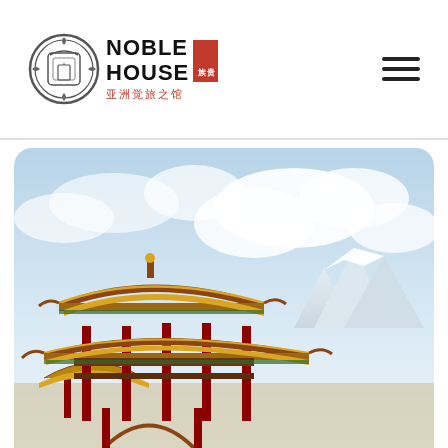[Figure (logo): Noble House logo with circular emblem, bold text NOBLE HOUSE, red vertical Chinese character box, and Chinese subtitle 亚洲觉旅之馆]
[Figure (photo): Hero image of a traditional Chinese pavilion with red pillars and golden curved roofs, set against a blue sky with white clouds and snow-capped mountains in the background]